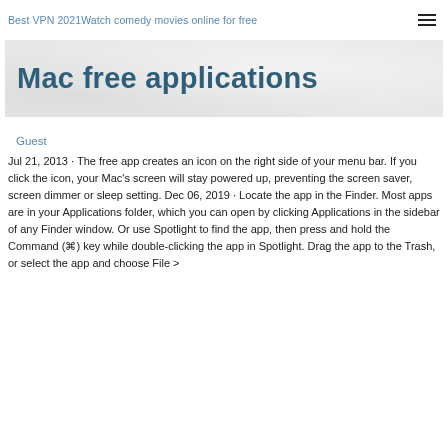Best VPN 2021Watch comedy movies online for free
Mac free applications
Guest
Jul 21, 2013 · The free app creates an icon on the right side of your menu bar. If you click the icon, your Mac's screen will stay powered up, preventing the screen saver, screen dimmer or sleep setting. Dec 06, 2019 · Locate the app in the Finder. Most apps are in your Applications folder, which you can open by clicking Applications in the sidebar of any Finder window. Or use Spotlight to find the app, then press and hold the Command (⌘) key while double-clicking the app in Spotlight. Drag the app to the Trash, or select the app and choose File >